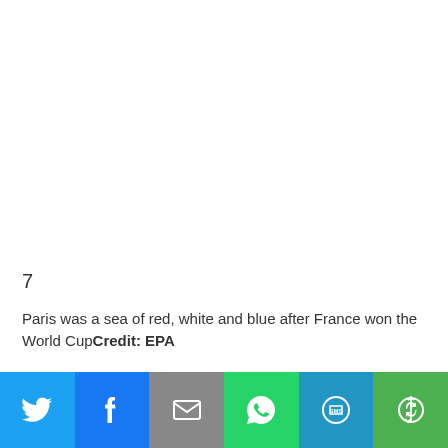[Figure (photo): Large white/blank image area at top of page]
7
Paris was a sea of red, white and blue after France won the World CupCredit: EPA
This website uses cookies to improve your experience. We'll assume you're ok with this, but you can opt-out if you wish.
[Figure (infographic): Social share bar with Twitter, Facebook, Email, WhatsApp, SMS, and More buttons]